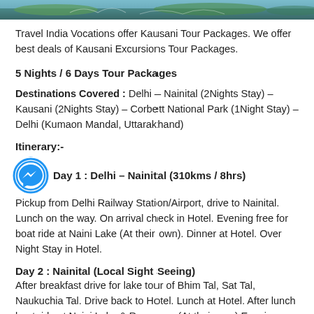[Figure (photo): Scenic nature/waterfall photo strip at top of page]
Travel India Vocations offer Kausani Tour Packages. We offer best deals of Kausani Excursions Tour Packages.
5 Nights / 6 Days Tour Packages
Destinations Covered : Delhi – Nainital (2Nights Stay) – Kausani (2Nights Stay) – Corbett National Park (1Night Stay) – Delhi (Kumaon Mandal, Uttarakhand)
Itinerary:-
Day 1 : Delhi – Nainital (310kms / 8hrs)
Pickup from Delhi Railway Station/Airport, drive to Nainital. Lunch on the way. On arrival check in Hotel. Evening free for boat ride at Naini Lake (At their own). Dinner at Hotel. Over Night Stay in Hotel.
Day 2 : Nainital (Local Sight Seeing)
After breakfast drive for lake tour of Bhim Tal, Sat Tal, Naukuchia Tal. Drive back to Hotel. Lunch at Hotel. After lunch boat ride at Naini Lake & Rope way (At their own).Evening enjoy Mall Road. Dinner at hotel.